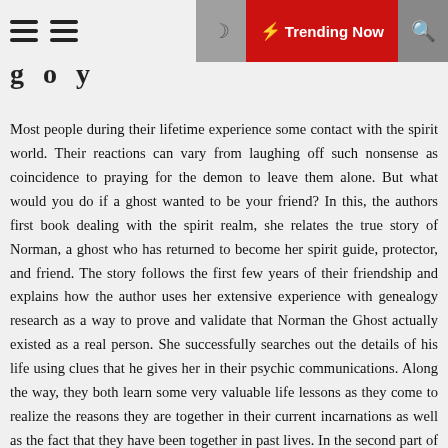Trending Now
g   o   y
Most people during their lifetime experience some contact with the spirit world. Their reactions can vary from laughing off such nonsense as coincidence to praying for the demon to leave them alone. But what would you do if a ghost wanted to be your friend? In this, the authors first book dealing with the spirit realm, she relates the true story of Norman, a ghost who has returned to become her spirit guide, protector, and friend. The story follows the first few years of their friendship and explains how the author uses her extensive experience with genealogy research as a way to prove and validate that Norman the Ghost actually existed as a real person. She successfully searches out the details of his life using clues that he gives her in their psychic communications. Along the way, they both learn some very valuable life lessons as they come to realize the reasons they are together in their current incarnations as well as the fact that they have been together in past lives. In the second part of the book, the author discovers one of those past lives when she and Norman were together as siblings. Once again, using her gifts in accessing the spirit realm and the Akashic Records, the author goes back with Norman to this